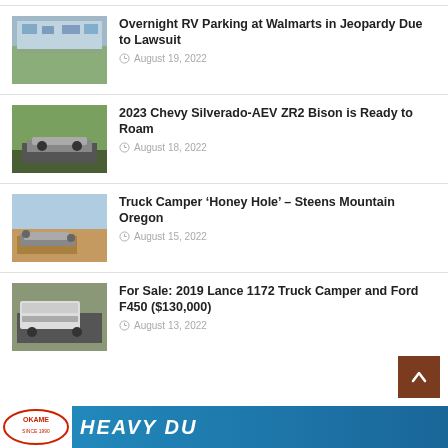[Figure (photo): Walmart parking lot aerial/overhead view with RVs and cars]
Overnight RV Parking at Walmarts in Jeopardy Due to Lawsuit
August 19, 2022
[Figure (photo): 2023 Chevy Silverado ZR2 Bison truck in wooded terrain]
2023 Chevy Silverado-AEV ZR2 Bison is Ready to Roam
August 18, 2022
[Figure (photo): Truck camper at Steens Mountain Oregon scenic overlook]
Truck Camper ‘Honey Hole’ – Steens Mountain Oregon
August 15, 2022
[Figure (photo): 2019 Lance 1172 truck camper on Ford F450 for sale]
For Sale: 2019 Lance 1172 Truck Camper and Ford F450 ($130,000)
August 13, 2022
[Figure (photo): Advertisement banner - HEAVY DUTY]